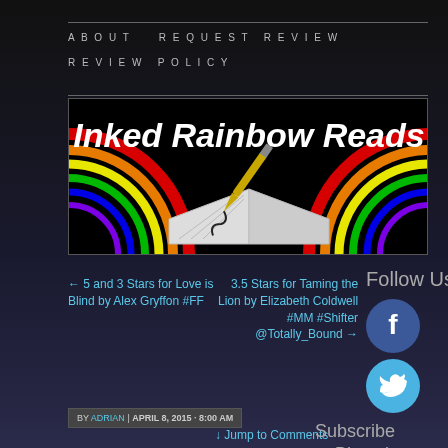ABOUT   REQUEST REVIEW   REVIEW POLICY
[Figure (logo): Inked Rainbow Reads banner with rainbow arc and open book with gold fountain pen on black background]
← 5 and 3 Stars for Love is Blind by Alex Gryffon #FF
3.5 Stars for Taming the Lion by Elizabeth Coldwell #MM #Shifter @Totally_Bound →
[Figure (logo): Facebook circular logo icon in dark blue]
[Figure (logo): Twitter circular logo icon in light blue]
Follow Us
BY ADRIAN | APRIL 8, 2015 · 8:00 AM
↓ Jump to Comments
Subscribe to Blog via